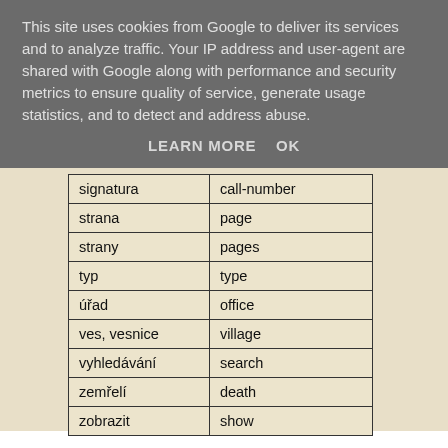This site uses cookies from Google to deliver its services and to analyze traffic. Your IP address and user-agent are shared with Google along with performance and security metrics to ensure quality of service, generate usage statistics, and to detect and address abuse.
LEARN MORE    OK
| signatura | call-number |
| strana | page |
| strany | pages |
| typ | type |
| úřad | office |
| ves, vesnice | village |
| vyhledávání | search |
| zemřelí | death |
| zobrazit | show |